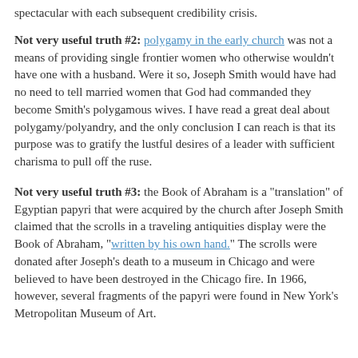spectacular with each subsequent credibility crisis.
Not very useful truth #2: polygamy in the early church was not a means of providing single frontier women who otherwise wouldn't have one with a husband. Were it so, Joseph Smith would have had no need to tell married women that God had commanded they become Smith's polygamous wives. I have read a great deal about polygamy/polyandry, and the only conclusion I can reach is that its purpose was to gratify the lustful desires of a leader with sufficient charisma to pull off the ruse.
Not very useful truth #3: the Book of Abraham is a "translation" of Egyptian papyri that were acquired by the church after Joseph Smith claimed that the scrolls in a traveling antiquities display were the Book of Abraham, "written by his own hand." The scrolls were donated after Joseph's death to a museum in Chicago and were believed to have been destroyed in the Chicago fire. In 1966, however, several fragments of the papyri were found in New York's Metropolitan Museum of Art.